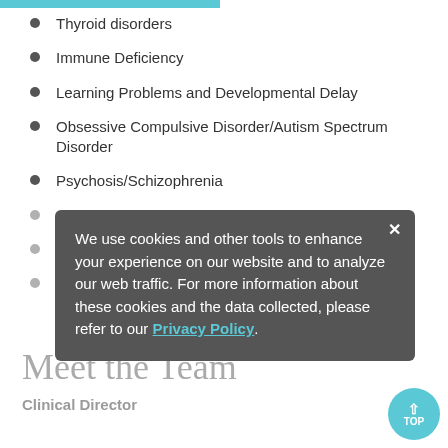Thyroid disorders
Immune Deficiency
Learning Problems and Developmental Delay
Obsessive Compulsive Disorder/Autism Spectrum Disorder
Psychosis/Schizophrenia
Scoliosis
Seizures
Velopharyngeal Insufficiency
Meet the Team
Clinical Director
We use cookies and other tools to enhance your experience on our website and to analyze our web traffic. For more information about these cookies and the data collected, please refer to our Privacy Policy.